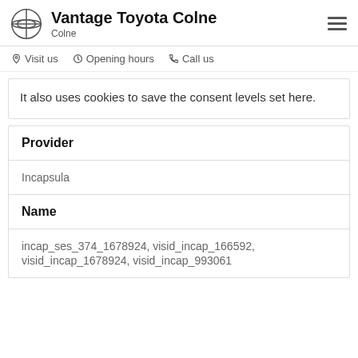Vantage Toyota Colne
Colne
Visit us   Opening hours   Call us
It also uses cookies to save the consent levels set here.
Provider
Incapsula
Name
incap_ses_374_1678924, visid_incap_166592, visid_incap_1678924, visid_incap_993061